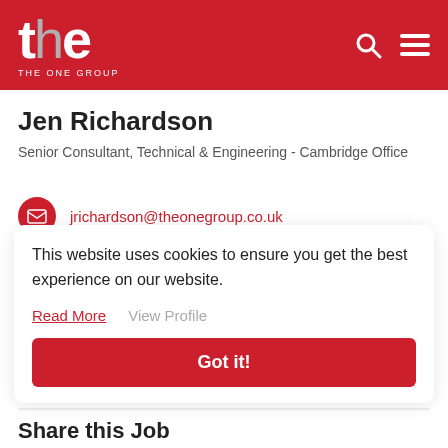THE ONE GROUP
Jen Richardson
Senior Consultant, Technical & Engineering - Cambridge Office
jrichardson@theonegroup.co.uk
01223 237885
This website uses cookies to ensure you get the best experience on our website.
Read More
View Profile
Got it!
Share this Job